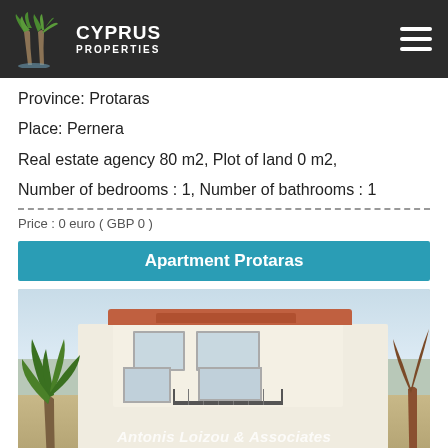Cyprus Properties
Province: Protaras
Place: Pernera
Real estate agency 80 m2, Plot of land 0 m2,
Number of bedrooms : 1, Number of bathrooms : 1
Price : 0 euro ( GBP 0 )
Apartment Protaras
[Figure (photo): Exterior photo of a white two-storey apartment building in Protaras with palm trees, red tile roof, balcony with iron railing, and watermark 'Antonis Loizou & Associates']